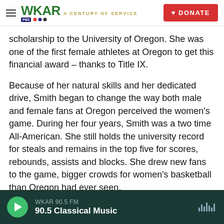WKAR A CENTURY OF SERVICE | DONATE
scholarship to the University of Oregon. She was one of the first female athletes at Oregon to get this financial award – thanks to Title IX.
Because of her natural skills and her dedicated drive, Smith began to change the way both male and female fans at Oregon perceived the women's game. During her four years, Smith was a two time All-American. She still holds the university record for steals and remains in the top five for scores, rebounds, assists and blocks. She drew new fans to the game, bigger crowds for women's basketball than Oregon had ever seen.
WKAR 90.5 FM
90.5 Classical Music